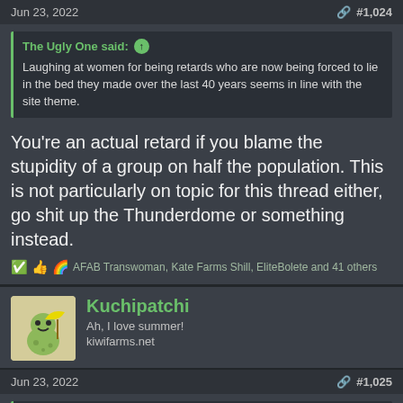Jun 23, 2022  #1,024
The Ugly One said: ↑
Laughing at women for being retards who are now being forced to lie in the bed they made over the last 40 years seems in line with the site theme.
You're an actual retard if you blame the stupidity of a group on half the population. This is not particularly on topic for this thread either, go shit up the Thunderdome or something instead.
✅👍🌈 AFAB Transwoman, Kate Farms Shill, EliteBolete and 41 others
Kuchipatchi
Ah, I love summer!
kiwifarms.net
Jun 23, 2022  #1,025
The Ugly One said: ↑